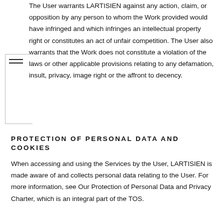The User warrants LARTISIEN against any action, claim, or opposition by any person to whom the Work provided would have infringed and which infringes an intellectual property right or constitutes an act of unfair competition. The User also warrants that the Work does not constitute a violation of the laws or other applicable provisions relating to any defamation, insult, privacy, image right or the affront to decency.
PROTECTION OF PERSONAL DATA AND COOKIES
When accessing and using the Services by the User, LARTISIEN is made aware of and collects personal data relating to the User. For more information, see Our Protection of Personal Data and Privacy Charter, which is an integral part of the TOS.